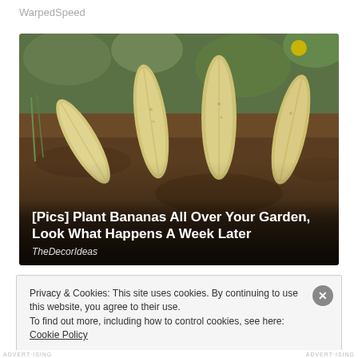WarpedSpeed
[Figure (photo): Banana peels or bananas planted upright in garden soil with green plants in the background. Article card with overlay text.]
[Pics] Plant Bananas All Over Your Garden, Look What Happens A Week Later
TheDecorIdeas
Privacy & Cookies: This site uses cookies. By continuing to use this website, you agree to their use.
To find out more, including how to control cookies, see here: Cookie Policy
Close and accept